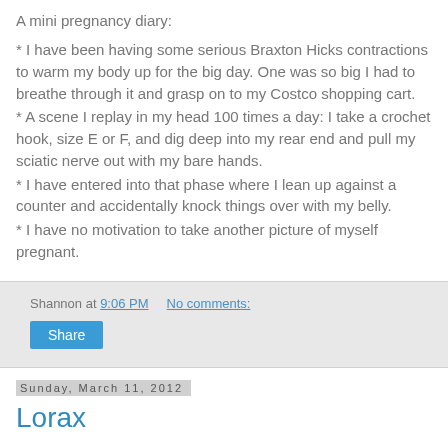A mini pregnancy diary:
* I have been having some serious Braxton Hicks contractions to warm my body up for the big day. One was so big I had to breathe through it and grasp on to my Costco shopping cart.
* A scene I replay in my head 100 times a day: I take a crochet hook, size E or F, and dig deep into my rear end and pull my sciatic nerve out with my bare hands.
* I have entered into that phase where I lean up against a counter and accidentally knock things over with my belly.
* I have no motivation to take another picture of myself pregnant.
Shannon at 9:06 PM   No comments:   Share
Sunday, March 11, 2012
Lorax